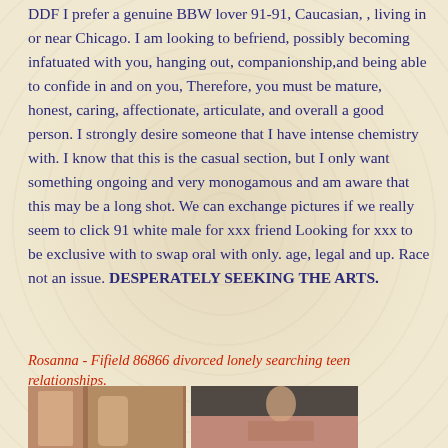DDF I prefer a genuine BBW lover 91-91, Caucasian, , living in or near Chicago. I am looking to befriend, possibly becoming infatuated with you, hanging out, companionship,and being able to confide in and on you, Therefore, you must be mature, honest, caring, affectionate, articulate, and overall a good person. I strongly desire someone that I have intense chemistry with. I know that this is the casual section, but I only want something ongoing and very monogamous and am aware that this may be a long shot. We can exchange pictures if we really seem to click 91 white male for xxx friend Looking for xxx to be exclusive with to swap oral with only. age, legal and up. Race not an issue. DESPERATELY SEEKING THE ARTS.
Rosanna - Fifield 86866 divorced lonely searching teen relationships.
[Figure (photo): Two side-by-side photos of a woman, left photo showing curtains/room background, right photo showing woman sitting on bed.]